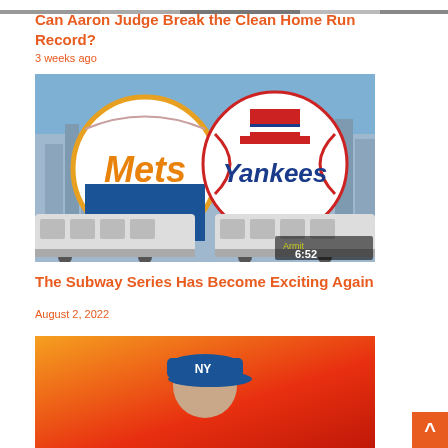[Figure (photo): Cropped top strip of a crowd/stadium image]
Can Aaron Judge Break the Clean Home Run Record?
3 weeks ago
[Figure (photo): Image of New York Mets and New York Yankees logos with subway trains, showing 6:52 timestamp and Armit watermark]
The Subway Series Has Become Exciting Again
August 2, 2022
[Figure (photo): Partially visible image at bottom showing a baseball player with orange/red background]